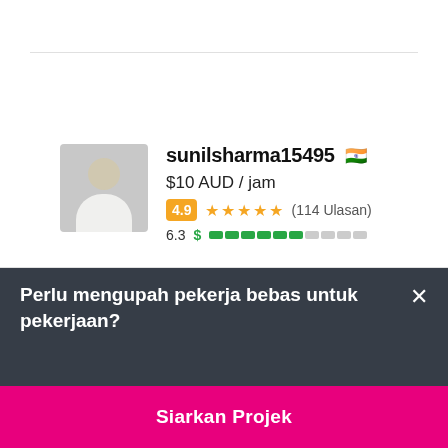[Figure (screenshot): Freelancer profile card showing username sunilsharma15495 with Indian flag, rate $10 AUD / jam, rating 4.9 with 5 stars (114 Ulasan), score 6.3 with green dollar sign and progress bar]
sunilsharma15495 🇮🇳
$10 AUD / jam
4.9 ★★★★★ (114 Ulasan)
6.3 $ [progress bar]
Perlu mengupah pekerja bebas untuk pekerjaan?
Siarkan Projek